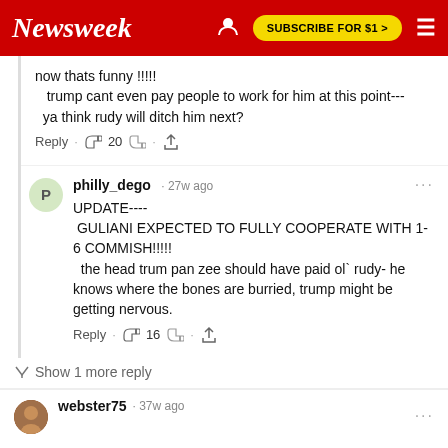Newsweek | SUBSCRIBE FOR $1 >
now thats funny !!!!!
   trump cant even pay people to work for him at this point---
   ya think rudy will ditch him next?
Reply · 👍 20 👎 · share
philly_dego · 27w ago
UPDATE----
 GULIANI EXPECTED TO FULLY COOPERATE WITH 1-6 COMMISH!!!!!
  the head trum pan zee should have paid ol` rudy- he knows where the bones are burried, trump might be getting nervous.
Reply · 👍 16 👎 · share
↳ Show 1 more reply
webster75 · 37w ago